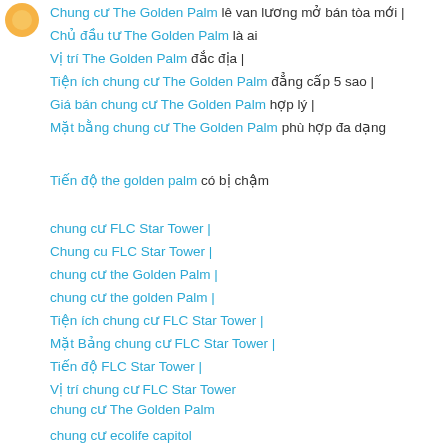Chung cư The Golden Palm lê van lương mở bán tòa mới |
Chủ đầu tư The Golden Palm là ai
Vị trí The Golden Palm đắc địa |
Tiện ích chung cư The Golden Palm đẳng cấp 5 sao |
Giá bán chung cư The Golden Palm hợp lý |
Mặt bằng chung cư The Golden Palm phù hợp đa dạng
Tiến độ the golden palm có bị chậm
chung cư FLC Star Tower |
Chung cu FLC Star Tower |
chung cư the Golden Palm |
chung cư the golden Palm |
Tiện ích chung cư FLC Star Tower |
Mặt Bảng chung cư FLC Star Tower |
Tiến độ FLC Star Tower |
Vị trí chung cư FLC Star Tower
chung cư The Golden Palm
chung cư ecolife capitol